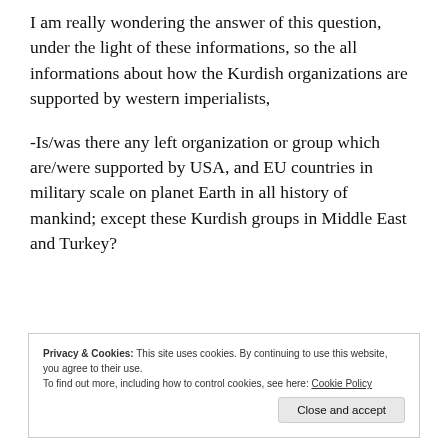I am really wondering the answer of this question, under the light of these informations, so the all informations about how the Kurdish organizations are supported by western imperialists,
-Is/was there any left organization or group which are/were supported by USA, and EU countries in military scale on planet Earth in all history of mankind; except these Kurdish groups in Middle East and Turkey?
Privacy & Cookies: This site uses cookies. By continuing to use this website, you agree to their use.
To find out more, including how to control cookies, see here: Cookie Policy
Close and accept